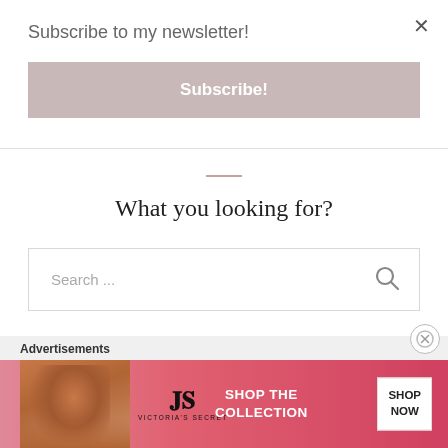Subscribe to my newsletter!
Subscribe!
What you looking for?
Search ...
Advertisements
[Figure (screenshot): Victoria's Secret advertisement banner showing a model, VS logo, 'SHOP THE COLLECTION' text, and 'SHOP NOW' button]